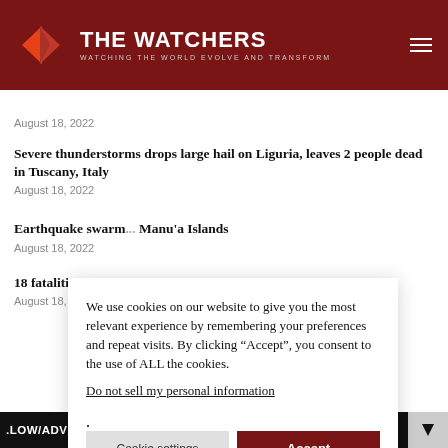THE WATCHERS — WATCHING THE WORLD EVOLVE AND TRANSFORM
August 18, 2022
Severe thunderstorms drops large hail on Liguria, leaves 2 people dead in Tuscany, Italy
August 18, 2022
Earthquake swarm... Manu'a Islands
August 18, 2022
18 fatalities, 36 mi...
August 18, 2022
We use cookies on our website to give you the most relevant experience by remembering your preferences and repeat visits. By clicking “Accept”, you consent to the use of ALL the cookies.
Do not sell my personal information.
LLOW/ADVISORY - EARTHQUAKE SWARM CONTINUES IN MANU...